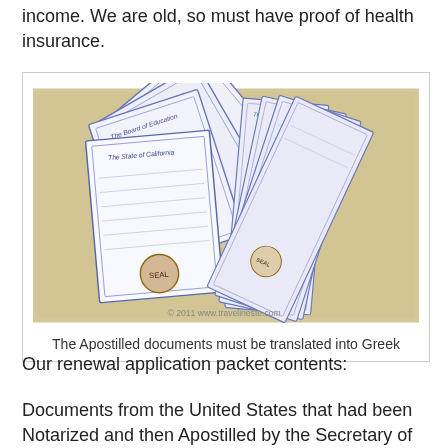income. We are old, so must have proof of health insurance.
[Figure (photo): A fan of apostilled documents spread out on a beige woven surface, showing multiple white papers with blue decorative borders and official seals. Watermark reads: © 2011 www.travelineste.com]
The Apostilled documents must be translated into Greek
Our renewal application packet contents:
Documents from the United States that had been Notarized and then Apostilled by the Secretary of State's office in our